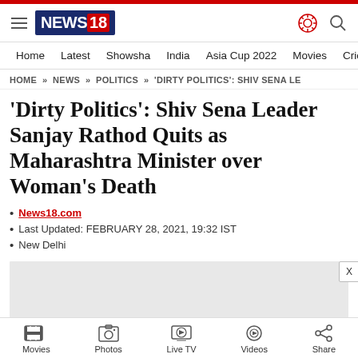NEWS18
Home | Latest | Showsha | India | Asia Cup 2022 | Movies | Cricket
HOME » NEWS » POLITICS » 'DIRTY POLITICS': SHIV SENA LE
'Dirty Politics': Shiv Sena Leader Sanjay Rathod Quits as Maharashtra Minister over Woman's Death
News18.com
Last Updated: FEBRUARY 28, 2021, 19:32 IST
New Delhi
[Figure (other): Advertisement placeholder with close button]
Movies | Photos | Live TV | Videos | Share